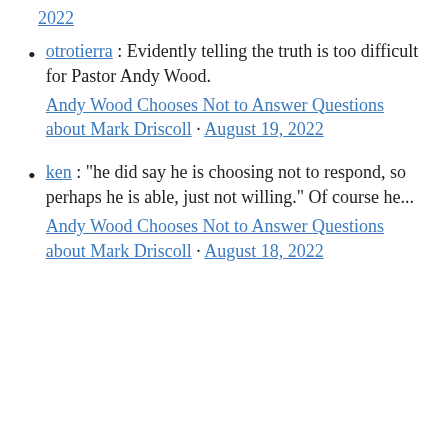2022 (link)
otrotierra : Evidently telling the truth is too difficult for Pastor Andy Wood. Andy Wood Chooses Not to Answer Questions about Mark Driscoll · August 19, 2022
ken : "he did say he is choosing not to respond, so perhaps he is able, just not willing." Of course he... Andy Wood Chooses Not to Answer Questions about Mark Driscoll · August 18, 2022